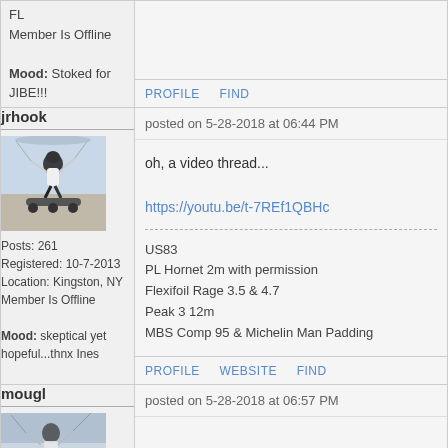FL
Member Is Offline
Mood: Stoked for JIBE!!!
PROFILE   FIND
jrhook
posted on 5-28-2018 at 06:44 PM
[Figure (photo): Person kiteboarding on a mountainboard on a beach]
Posts: 261
Registered: 10-7-2013
Location: Kingston, NY
Member Is Offline
Mood: skeptical yet hopeful...thnx Ines
oh, a video thread...

https://youtu.be/t-7REf1QBHc
US83
PL Hornet 2m with permission
Flexifoil Rage 3.5 & 4.7
Peak 3 12m
MBS Comp 95 & Michelin Man Padding
PROFILE   WEBSITE   FIND
mougl
posted on 5-28-2018 at 06:57 PM
[Figure (photo): Person kiteboarding on water or beach]